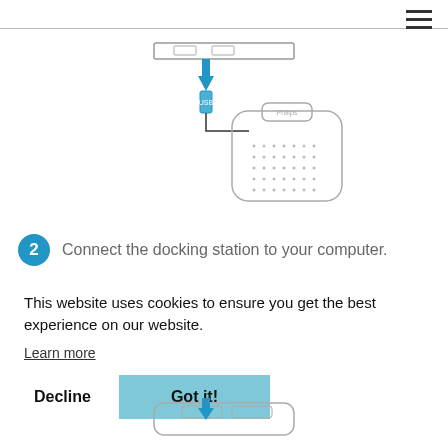[Figure (schematic): Diagram showing a USB cable connecting a docking station device to a computer port, with a blue upward arrow indicating the connection direction.]
2 Connect the docking station to your computer.
This website uses cookies to ensure you get the best experience on our website.
Learn more
Decline
Got it!
[Figure (schematic): Partial bottom diagram showing device connections, cut off at the bottom of the page.]